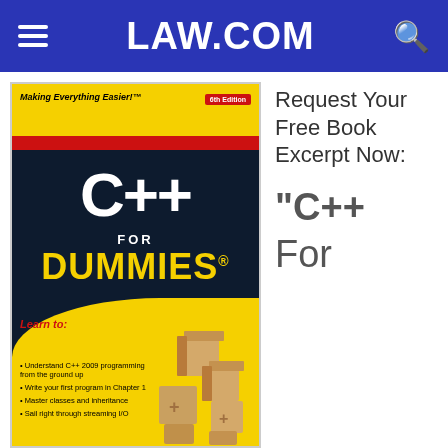LAW.COM
[Figure (illustration): Cover of the book 'C++ For Dummies, 6th Edition' by For Dummies series. Yellow and black cover with 'Making Everything Easier!' tagline, 'C++' in white large font, 'FOR DUMMIES' in yellow distressed font, and bullet points listing: Understand C++ 2009 programming from the ground up, Write your first program in Chapter 1, Master classes and inheritance, Sail right through streaming I/O. Bottom shows wooden block toys.]
Request Your Free Book Excerpt Now:
"C++ For